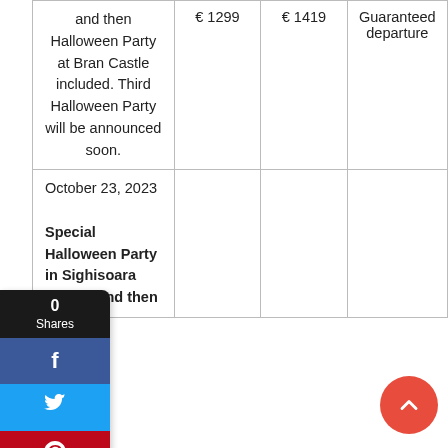|  |  |  |  |
| --- | --- | --- | --- |
| and then Halloween Party at Bran Castle included. Third Halloween Party will be announced soon. | € 1299 | € 1419 | Guaranteed departure |
| October 23, 2023

Special Halloween Party in Sighisoara Citadel and then |  |  |  |